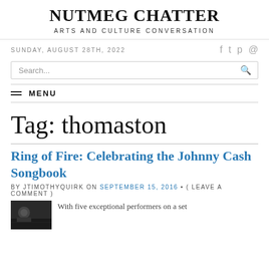NUTMEG CHATTER
ARTS AND CULTURE CONVERSATION
SUNDAY, AUGUST 28TH, 2022
Search...
MENU
Tag: thomaston
Ring of Fire: Celebrating the Johnny Cash Songbook
BY JTIMOTHYQUIRK ON SEPTEMBER 15, 2016 • ( LEAVE A COMMENT )
[Figure (photo): Thumbnail image of performers for Ring of Fire article]
With five exceptional performers on a set